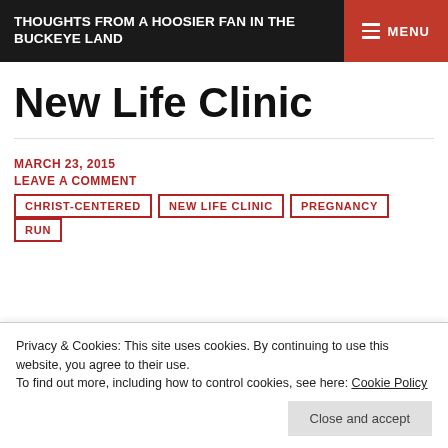THOUGHTS FROM A HOOSIER FAN IN THE BUCKEYE LAND
New Life Clinic
MARCH 23, 2015
LEAVE A COMMENT
CHRIST-CENTERED
NEW LIFE CLINIC
PREGNANCY
RUN
Privacy & Cookies: This site uses cookies. By continuing to use this website, you agree to their use.
To find out more, including how to control cookies, see here: Cookie Policy
Close and accept